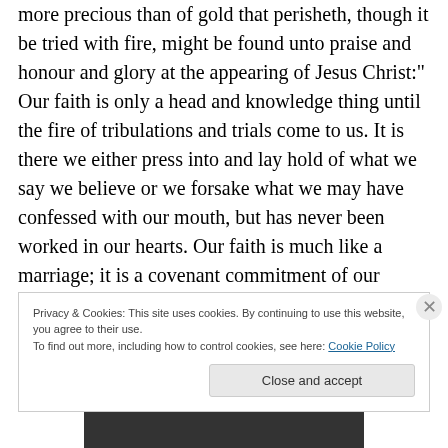more precious than of gold that perisheth, though it be tried with fire, might be found unto praise and honour and glory at the appearing of Jesus Christ:" Our faith is only a head and knowledge thing until the fire of tribulations and trials come to us. It is there we either press into and lay hold of what we say we believe or we forsake what we may have confessed with our mouth, but has never been worked in our hearts. Our faith is much like a marriage; it is a covenant commitment of our hearts and lives to our God. Not unlike many marriages today, when the
Privacy & Cookies: This site uses cookies. By continuing to use this website, you agree to their use.
To find out more, including how to control cookies, see here: Cookie Policy
Close and accept